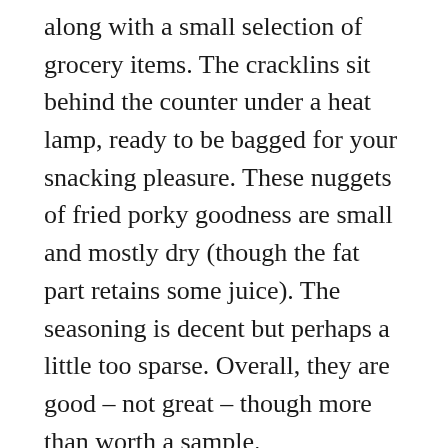along with a small selection of grocery items. The cracklins sit behind the counter under a heat lamp, ready to be bagged for your snacking pleasure. These nuggets of fried porky goodness are small and mostly dry (though the fat part retains some juice). The seasoning is decent but perhaps a little too sparse. Overall, they are good – not great – though more than worth a sample.
Legnon's Boucherie
410 Jefferson Terrace, New Iberia, 337/367-3831
Legnon's Boucherie is, perhaps, the finest